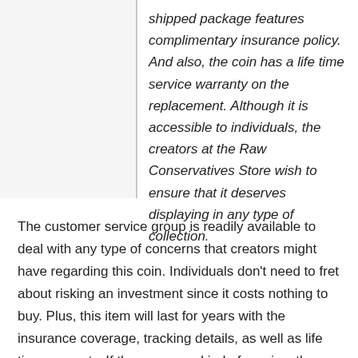shipped package features complimentary insurance policy. And also, the coin has a life time service warranty on the replacement. Although it is accessible to individuals, the creators at the Raw Conservatives Store wish to ensure that it deserves displaying in any type of collection.
The customer service group is readily available to deal with any type of concerns that creators might have regarding this coin. Individuals don't need to fret about risking an investment since it costs nothing to buy. Plus, this item will last for years with the insurance coverage, tracking details, as well as life time warranty. If there are any kind of worries, the customer support team can be reached any time on any kind of day with an e-mail.